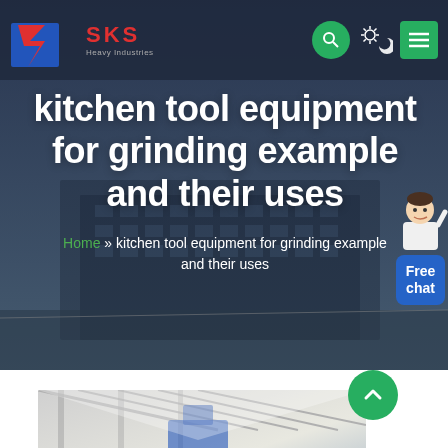SKS — navigation header with logo, search, theme toggle, and menu
kitchen tool equipment for grinding example and their uses
Home » kitchen tool equipment for grinding example and their uses
[Figure (screenshot): Bottom section showing an indoor industrial/exhibition hall photograph partially visible]
[Figure (illustration): Free chat widget with avatar and blue bubble saying Free chat]